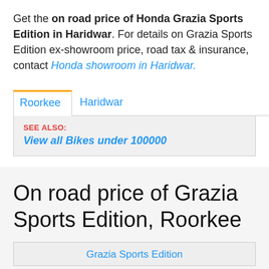Get the on road price of Honda Grazia Sports Edition in Haridwar. For details on Grazia Sports Edition ex-showroom price, road tax & insurance, contact Honda showroom in Haridwar.
[Figure (other): Tab navigation with two tabs: Roorkee (active, with orange top border) and Haridwar. Below the tabs is a gray panel with SEE ALSO label in red and a link 'View all Bikes under 100000' in bold blue italic.]
On road price of Grazia Sports Edition, Roorkee
| Grazia Sports Edition |
| --- |